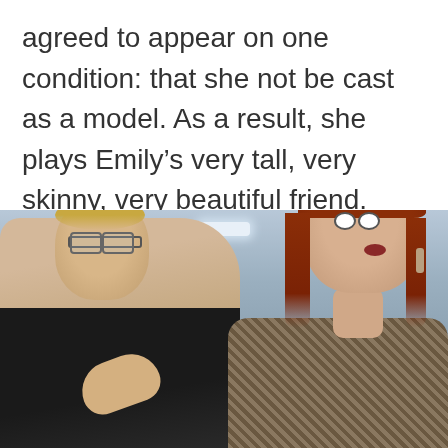agreed to appear on one condition: that she not be cast as a model. As a result, she plays Emily’s very tall, very skinny, very beautiful friend.
[Figure (photo): Movie still showing two women: on the left, a blonde woman with glasses and hair up in a bun, wearing black, resting her chin on her hand; on the right, a tall woman with long auburn/red hair wearing a houndstooth jacket, looking surprised with mouth slightly open. Office setting in the background.]